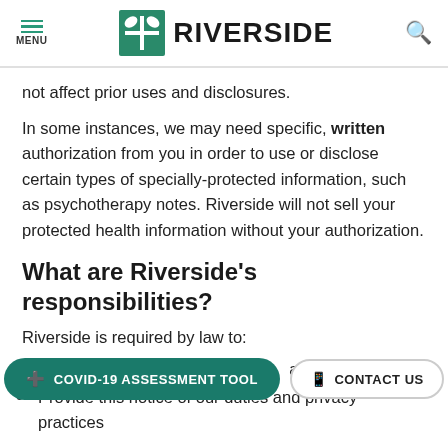MENU | RIVERSIDE
not affect prior uses and disclosures.
In some instances, we may need specific, written authorization from you in order to use or disclose certain types of specially-protected information, such as psychotherapy notes. Riverside will not sell your protected health information without your authorization.
What are Riverside's responsibilities?
Riverside is required by law to:
Maintain the privacy of your health…
Provide this notice of our duties and privacy practices